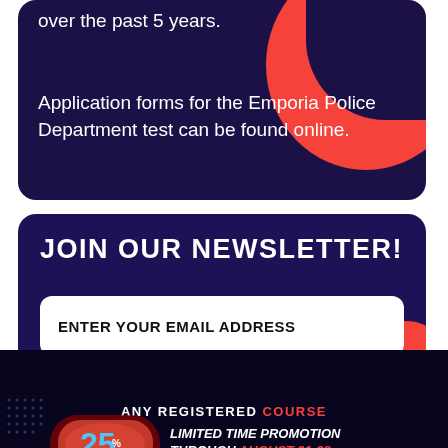over the past 5 years.
Application forms for the Emporia Police Department test can be found online.
JOIN OUR NEWSLETTER!
ENTER YOUR EMAIL ADDRESS
ANY REGISTERED COURSE
[Figure (infographic): 25% off limited time promotion through August 21-28 with promotional code POLICE25]
Promotional Code: POLICE25